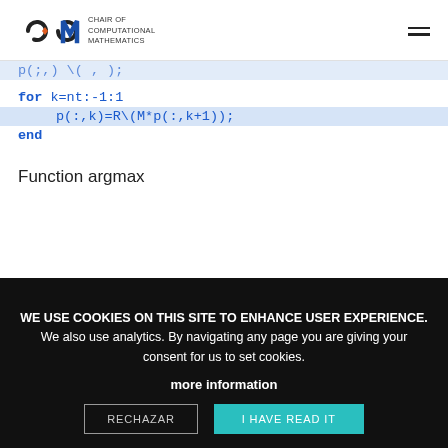CHAIR OF COMPUTATIONAL MATHEMATICS
p(;,k)=R\(M*p(:,k+1));
for k=nt:-1:1
p(:,k)=R\(M*p(:,k+1));
end
Function argmax
WE USE COOKIES ON THIS SITE TO ENHANCE USER EXPERIENCE. We also use analytics. By navigating any page you are giving your consent for us to set cookies. more information
RECHAZAR
I HAVE READ IT